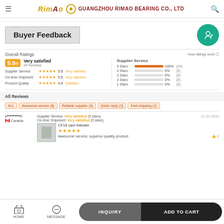RIMAO | GUANGZHOU RIMAO BEARING CO., LTD
Buyer Feedback
Overall Ratings
5.0/5 Very satisfied 24 Reviews
| Category | Stars | Score | Satisfaction |
| --- | --- | --- | --- |
| Supplier Service | ★★★★★ | 5.0 | Very satisfied |
| On-time Shipment | ★★★★★ | 5.0 | Very satisfied |
| Product Quality | ★★★★★ | 4.9 | Satisfied |
| Supplier Service Stars | Percentage | Count |
| --- | --- | --- |
| 5 Stars | 100% | (24) |
| 4 Stars | 0% | (0) |
| 3 Stars | 0% | (0) |
| 2 Stars | 0% | (0) |
| 1 Stars | 0% | (0) |
All Reviews
ALL
Awesome service (8)
Reliable supplier (4)
Quick reply (3)
Fast shipping (1)
s**********h Canada
Supplier Service: Very satisfied (5 stars)
On-time Shipment: Very satisfied (5 stars)
CF18 cam follower
★★★★★
Awesome service, superior quality product
13 Jul 2019
HOME | MESSAGE | INQUIRY | ADD TO CART